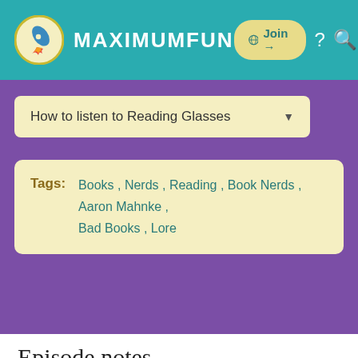MAXIMUMFUN
How to listen to Reading Glasses
Tags: Books , Nerds , Reading , Book Nerds , Aaron Mahnke , Bad Books , Lore
Episode notes
Brea and Mallory help you break up with bad books and interview writer and podcaster Aaron Mahnke. Use the hashtag #ReadingGlasses to participate in online